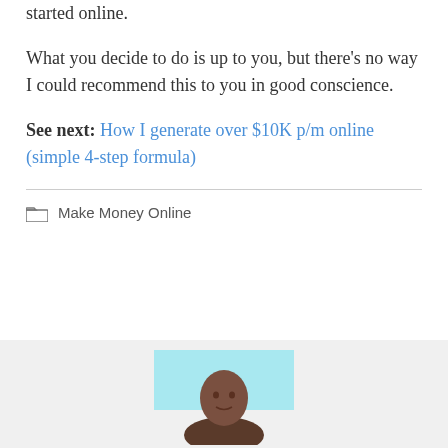started online.
What you decide to do is up to you, but there’s no way I could recommend this to you in good conscience.
See next: How I generate over $10K p/m online (simple 4-step formula)
Make Money Online
[Figure (photo): Portrait photo of a man with a light blue background, cropped at chest level, visible from bottom of page]